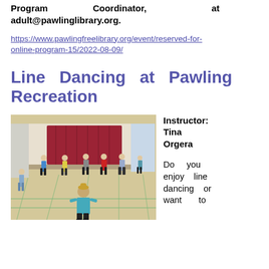Program Coordinator, at adult@pawlinglibrary.org.
https://www.pawlingfreelibrary.org/event/reserved-for-online-program-15/2022-08-09/
Line Dancing at Pawling Recreation
[Figure (photo): People line dancing in a gymnasium with a stage with red curtains in the background]
Instructor: Tina Orgera
Do you enjoy line dancing or want to